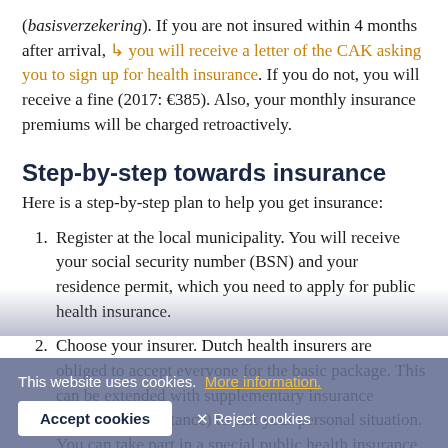(basisverzekering). If you are not insured within 4 months after arrival, you will receive a letter of the CAK asking you to sign up for health insurance. If you do not, you will receive a fine (2017: €385). Also, your monthly insurance premiums will be charged retroactively.
Step-by-step towards insurance
Here is a step-by-step plan to help you get insurance:
Register at the local municipality. You will receive your social security number (BSN) and your residence permit, which you need to apply for public health insurance.
Choose your insurer. Dutch health insurers are obliged to accept everyone for the basic package. This can be extended with supplementary insurance (subject to acceptance) to suit your personal situation. You can take part in a special public health insurance for employees of...